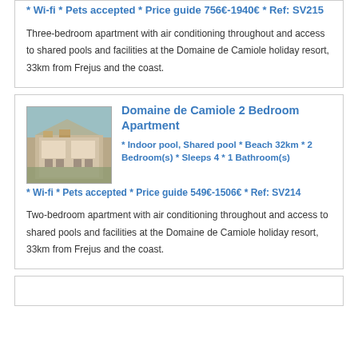* Wi-fi * Pets accepted * Price guide 756€-1940€ * Ref: SV215
Three-bedroom apartment with air conditioning throughout and access to shared pools and facilities at the Domaine de Camiole holiday resort, 33km from Frejus and the coast.
Domaine de Camiole 2 Bedroom Apartment
* Indoor pool, Shared pool * Beach 32km * 2 Bedroom(s) * Sleeps 4 * 1 Bathroom(s) * Wi-fi * Pets accepted * Price guide 549€-1506€ * Ref: SV214
Two-bedroom apartment with air conditioning throughout and access to shared pools and facilities at the Domaine de Camiole holiday resort, 33km from Frejus and the coast.